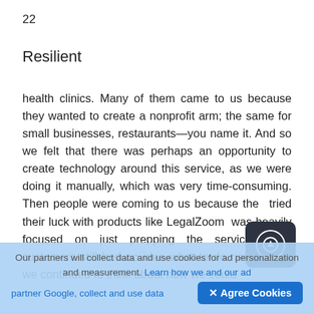22
Resilient
health clinics. Many of them came to us because they wanted to create a nonprofit arm; the same for small businesses, restaurants—you name it. And so we felt that there was perhaps an opportunity to create technology around this service, as we were doing it manually, which was very time-consuming. Then people were coming to us because they tried their luck with products like LegalZoom, was heavily focused on just prepping the services, and customers still had no idea what to do next. So as we continued to think about how we could
[Figure (other): Dark rounded tooltip popup with a circled up-arrow icon]
Our partners will collect data and use cookies for ad personalization and measurement. Learn how we and our ad partner Google, collect and use data
[Figure (other): Blue Agree Cookies button with X icon]